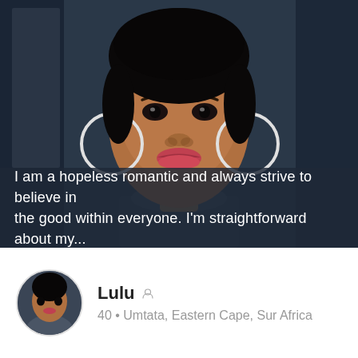[Figure (photo): Close-up selfie of a young woman with short hair, large silver hoop earrings, red lips, wearing a dark blue/grey sweatshirt, photographed indoors against a dark background.]
I am a hopeless romantic and always strive to believe in the good within everyone. I'm straightforward about my...
[Figure (photo): Small circular avatar thumbnail of the same woman, used as a profile picture.]
Lulu
40 • Umtata, Eastern Cape, Sur Africa